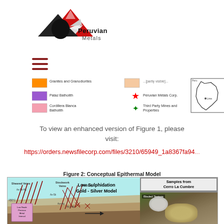[Figure (logo): Peruvian Metals company logo with mountain graphic and bear/eagle imagery]
[Figure (illustration): Hamburger menu icon (three horizontal red-brown lines)]
[Figure (illustration): Map legend showing: Granites and Granodiorites (orange), Pataz Batholith (purple), Cordillera Blanca Batholith (pink), plus a faded peach swatch with partially visible label, red star for Peruvian Metals Corp., green star for Third Party Mines and Properties, and a small outline map of Peru]
To view an enhanced version of Figure 1, please visit:
https://orders.newsfilecorp.com/files/3210/65949_1a8367fa94...
Figure 2: Conceptual Epithermal Model
[Figure (illustration): Conceptual Epithermal Model diagram showing Low Sulphidation Gold - Silver Model with Sheared Veins, Stockwork Veins, Low Grade Precious Metal Interval labels, temperature marker 150°C, As-Sb-Hg annotations, and a photo panel of Samples from Cerro La Cumbre with Bladed Texture label]